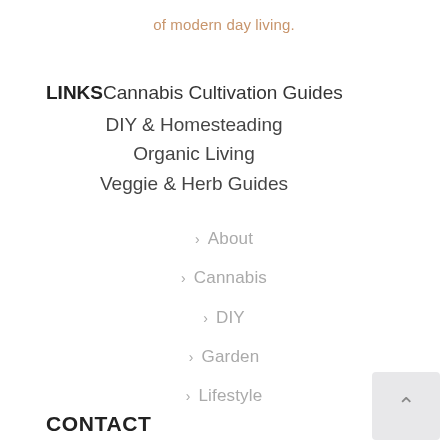of modern day living.
LINKS Cannabis Cultivation Guides
DIY & Homesteading
Organic Living
Veggie & Herb Guides
> About
> Cannabis
> DIY
> Garden
> Lifestyle
CONTACT